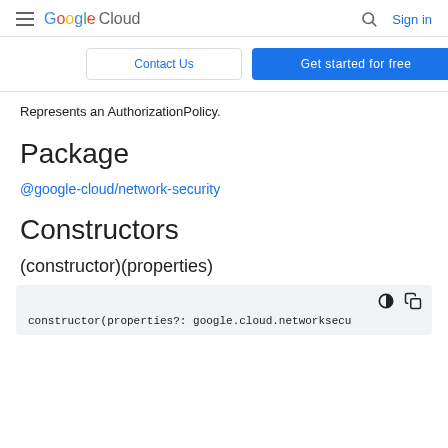Google Cloud  Sign in
Contact Us   Get started for free
Represents an AuthorizationPolicy.
Package
@google-cloud/network-security
Constructors
(constructor)(properties)
constructor(properties?: google.cloud.networksecu